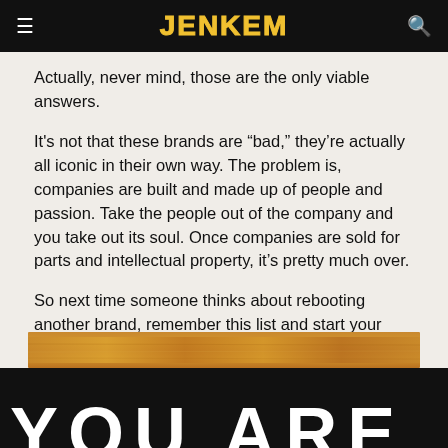JENKEM
Actually, never mind, those are the only viable answers.
It's not that these brands are “bad,” they’re actually all iconic in their own way. The problem is, companies are built and made up of people and passion. Take the people out of the company and you take out its soul. Once companies are sold for parts and intellectual property, it’s pretty much over.
So next time someone thinks about rebooting another brand, remember this list and start your own company with your own ideas rather than buying the discarded remains of someones past work.
[Figure (photo): Wooden plank strip image at bottom of article]
[Figure (photo): Black background with large white text block partially visible at bottom]